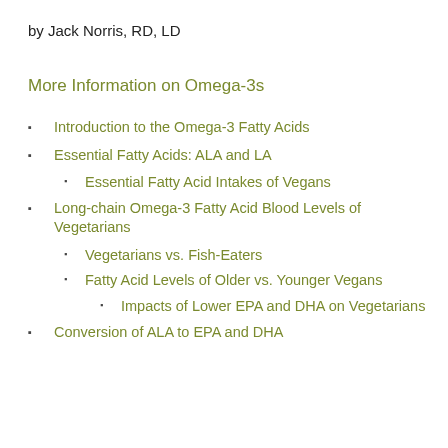by Jack Norris, RD, LD
More Information on Omega-3s
Introduction to the Omega-3 Fatty Acids
Essential Fatty Acids: ALA and LA
Essential Fatty Acid Intakes of Vegans
Long-chain Omega-3 Fatty Acid Blood Levels of Vegetarians
Vegetarians vs. Fish-Eaters
Fatty Acid Levels of Older vs. Younger Vegans
Impacts of Lower EPA and DHA on Vegetarians
Conversion of ALA to EPA and DHA